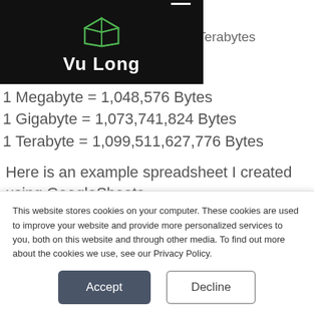[Figure (logo): Vu Long logo with green cube icon and hamburger menu on black background]
Bytes, Megabytes, Gigabytes or Terabytes
1 Byte
1 kilobyte = 1,024 Bytes
1 Megabyte = 1,048,576 Bytes
1 Gigabyte = 1,073,741,824 Bytes
1 Terabyte = 1,099,511,627,776 Bytes
Here is an example spreadsheet I created using GoogleSheets.
This website stores cookies on your computer. These cookies are used to improve your website and provide more personalized services to you, both on this website and through other media. To find out more about the cookies we use, see our Privacy Policy.